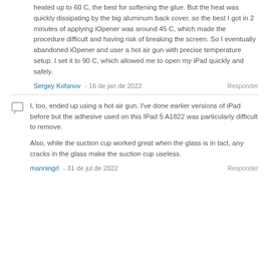heated up to 60 C, the best for softening the glue. But the heat was quickly dissipating by the big aluminum back cover, so the best I got in 2 minutes of applying iOpener was around 45 C, which made the procedure difficult and having risk of breaking the screen. So I eventually abandoned iOpener and user a hot air gun with precise temperature setup. I set it to 90 C, which allowed me to open my iPad quickly and safely.
Sergey Kofanov - 16 de jan de 2022  Responder
I, too, ended up using a hot air gun. I've done earlier versions of iPad before but the adhesive used on this IPad 5 A1822 was particularly difficult to remove.
Also, while the suction cup worked great when the glass is in tact, any cracks in the glass make the suction cup useless.
manningrl - 31 de jul de 2022  Responder